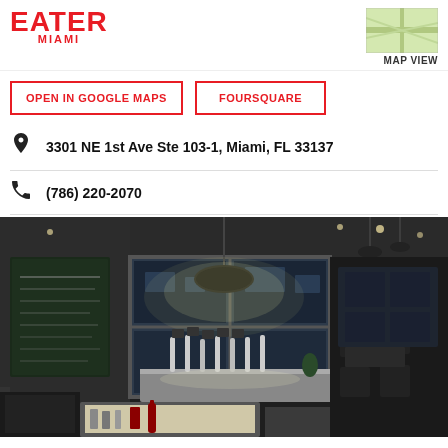EATER MIAMI
MAP VIEW
OPEN IN GOOGLE MAPS
FOURSQUARE
3301 NE 1st Ave Ste 103-1, Miami, FL 33137
(786) 220-2070
[Figure (photo): Interior of a restaurant with dark ambient lighting, industrial pendant lamp, bar area with tap handles, chalkboard menu on left wall, dining tables with white tablecloths, large windows showing nighttime exterior.]